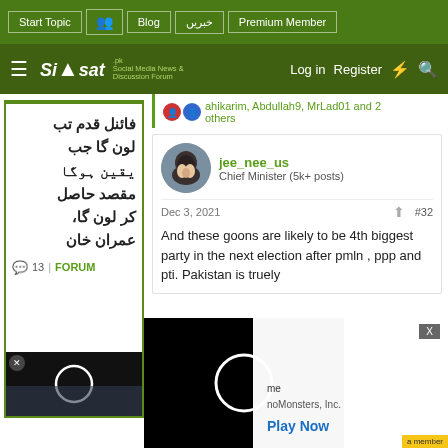Start Topic | Blog | خبریں | Premium Member
Siasat | Log in | Register
ahikarim, Abdullah9, MrLad01 and 2 others
jee_nee_us
Chief Minister (5k+ posts)
Dec 3, 2021  #32
And these goons are likely to be 4th biggest party in the next election after pmln , ppp and pti. Pakistan is truely
فائنل قدم تب لون گا جب یقین ہوگا مقصد حاصل کر لون گا، عمران خان
○13 | FORUM
[Figure (screenshot): Black advertisement overlay with white circle loading icon]
me
noMonsters, Inc.
Play Now